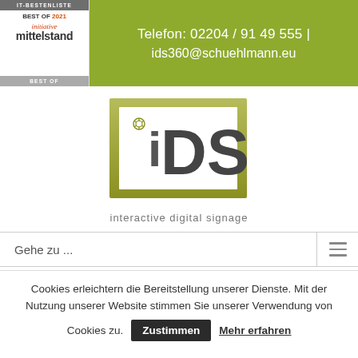[Figure (logo): IT-Bestenliste Best of 2021 initiative mittelstand badge/award logo]
Telefon: 02204 / 91 49 555 | ids360@schuehlmann.eu
[Figure (logo): iDS interactive digital signage company logo with olive/green gradient border and camera icon]
Gehe zu ...
Cookies erleichtern die Bereitstellung unserer Dienste. Mit der Nutzung unserer Website stimmen Sie unserer Verwendung von Cookies zu. Zustimmen Mehr erfahren